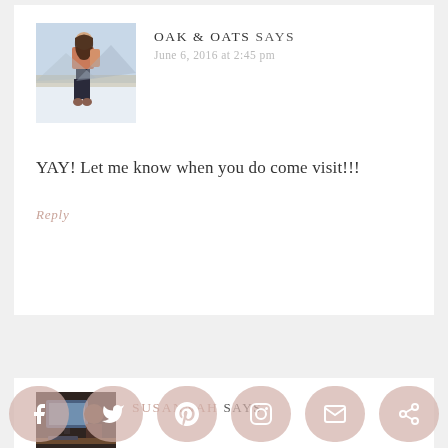[Figure (photo): Profile photo of Oak & Oats blogger, woman standing in a snowy outdoor scene wearing a salmon/pink coat and dark jeans]
OAK & OATS SAYS
June 6, 2016 at 2:45 pm
YAY! Let me know when you do come visit!!!
Reply
[Figure (photo): Profile photo of Susannah, person at a desk with computer]
SUSANNAH SAYS